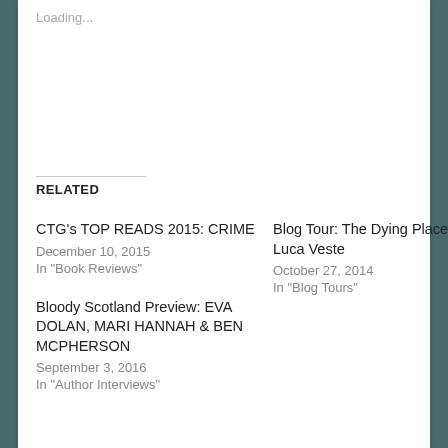Loading...
RELATED
CTG's TOP READS 2015: CRIME
December 10, 2015
In "Book Reviews"
Blog Tour: The Dying Place by Luca Veste
October 27, 2014
In "Blog Tours"
Bloody Scotland Preview: EVA DOLAN, MARI HANNAH & BEN MCPHERSON
September 3, 2016
In "Author Interviews"